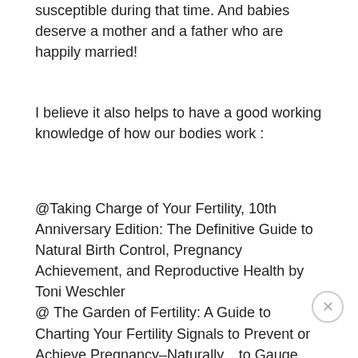susceptible during that time. And babies deserve a mother and a father who are happily married!
I believe it also helps to have a good working knowledge of how our bodies work :
@Taking Charge of Your Fertility, 10th Anniversary Edition: The Definitive Guide to Natural Birth Control, Pregnancy Achievement, and Reproductive Health by Toni Weschler
@ The Garden of Fertility: A Guide to Charting Your Fertility Signals to Prevent or Achieve Pregnancy–Naturally... to Gauge Your Reproductive Health by Katie Singer are great informative books.